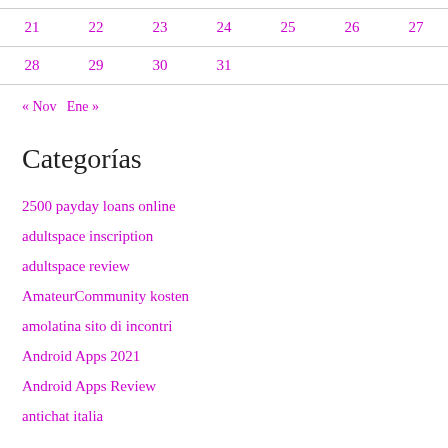| 21 | 22 | 23 | 24 | 25 | 26 | 27 |
| 28 | 29 | 30 | 31 |  |  |  |
« Nov   Ene »
Categorías
2500 payday loans online
adultspace inscription
adultspace review
AmateurCommunity kosten
amolatina sito di incontri
Android Apps 2021
Android Apps Review
antichat italia